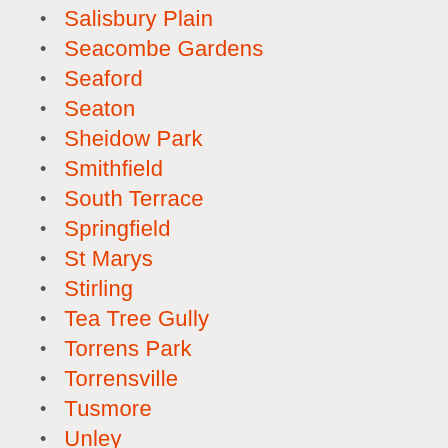Salisbury Plain
Seacombe Gardens
Seaford
Seaton
Sheidow Park
Smithfield
South Terrace
Springfield
St Marys
Stirling
Tea Tree Gully
Torrens Park
Torrensville
Tusmore
Unley
Vale Park
Walkerville
Welland